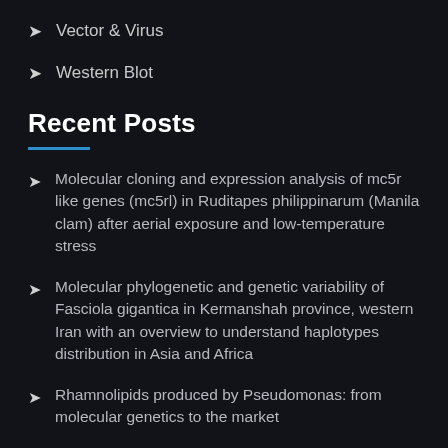Vector & Virus
Western Blot
Recent Posts
Molecular cloning and expression analysis of mc5r like genes (mc5rl) in Ruditapes philippinarum (Manila clam) after aerial exposure and low-temperature stress
Molecular phylogenetic and genetic variability of Fasciola gigantica in Kermanshah province, western Iran with an overview to understand haplotypes distribution in Asia and Africa
Rhamnolipids produced by Pseudomonas: from molecular genetics to the market